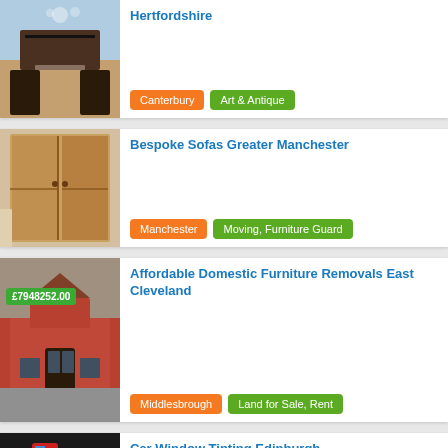[Figure (photo): Interior photo of a dining room with a glass table and dark chairs, ocean view background]
Hertfordshire
Canterbury  Art & Antique
[Figure (photo): Wooden wardrobe/cabinet furniture in a room]
Bespoke Sofas Greater Manchester
Manchester  Moving, Furniture Guard
[Figure (photo): House exterior with brick and a covered area, price badge £7948252.00]
Affordable Domestic Furniture Removals East Cleveland
Middlesbrough  Land for Sale, Rent
[Figure (photo): Car window with colorful text/logo sticker]
Car Window Tinting Edinburgh